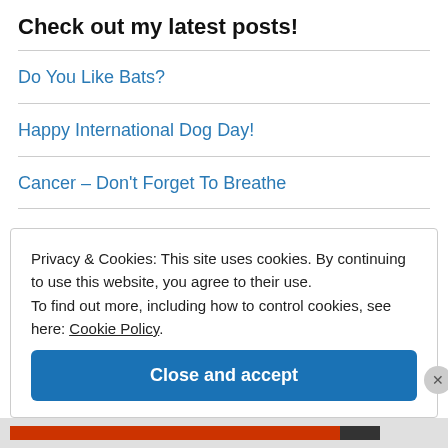Check out my latest posts!
Do You Like Bats?
Happy International Dog Day!
Cancer – Don't Forget To Breathe
Friday Funny June 18th
Privacy & Cookies: This site uses cookies. By continuing to use this website, you agree to their use. To find out more, including how to control cookies, see here: Cookie Policy
Close and accept